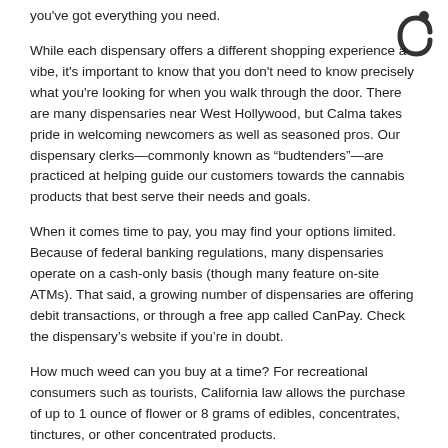you've got everything you need.
[Figure (logo): Calma dispensary logo — a stylized letter C with a circular dot, in dark gray on white background]
While each dispensary offers a different shopping experience a vibe, it's important to know that you don't need to know precisely what you're looking for when you walk through the door. There are many dispensaries near West Hollywood, but Calma takes pride in welcoming newcomers as well as seasoned pros. Our dispensary clerks—commonly known as “budtenders”—are practiced at helping guide our customers towards the cannabis products that best serve their needs and goals.
When it comes time to pay, you may find your options limited. Because of federal banking regulations, many dispensaries operate on a cash-only basis (though many feature on-site ATMs). That said, a growing number of dispensaries are offering debit transactions, or through a free app called CanPay. Check the dispensary's website if you're in doubt.
How much weed can you buy at a time? For recreational consumers such as tourists, California law allows the purchase of up to 1 ounce of flower or 8 grams of edibles, concentrates, tinctures, or other concentrated products.